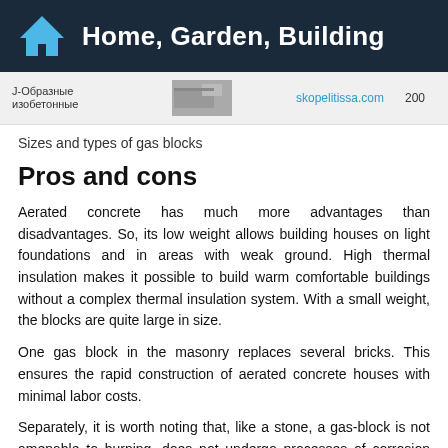Home, Garden, Building
[Figure (photo): Partial view of a table/image strip showing J-shaped aerated concrete blocks with Russian text 'J-Образные изобетонные', a gray block image, the URL 'skopelitissa.com', and the number '200']
Sizes and types of gas blocks
Pros and cons
Aerated concrete has much more advantages than disadvantages. So, its low weight allows building houses on light foundations and in areas with weak ground. High thermal insulation makes it possible to build warm comfortable buildings without a complex thermal insulation system. With a small weight, the blocks are quite large in size.
One gas block in the masonry replaces several bricks. This ensures the rapid construction of aerated concrete houses with minimal labor costs.
Separately, it is worth noting that, like a stone, a gas-block is not amenable to burning, does not undergo processes of corrosion and rotting, does not collapse under the influence of harmful insects. In addition, the porosity of the material is a guarantee of self-ventilation of the premises in the house (as in wooden buildings). Provided that the exterior and interior decoration will also be "breathable."